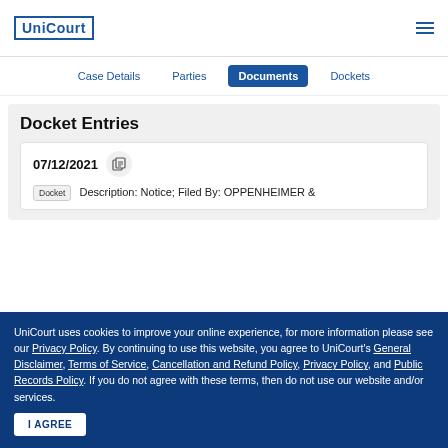UniCourt
Case Details  Parties  Documents  Dockets
Docket Entries
07/12/2021
Docket  Description: Notice; Filed By: OPPENHEIMER &
UniCourt uses cookies to improve your online experience, for more information please see our Privacy Policy. By continuing to use this website, you agree to UniCourt's General Disclaimer, Terms of Service, Cancellation and Refund Policy, Privacy Policy, and Public Records Policy. If you do not agree with these terms, then do not use our website and/or services.
I AGREE